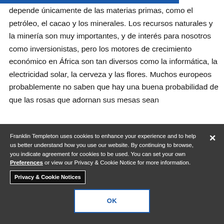depende únicamente de las materias primas, como el petróleo, el cacao y los minerales. Los recursos naturales y la minería son muy importantes, y de interés para nosotros como inversionistas, pero los motores de crecimiento económico en África son tan diversos como la informática, la electricidad solar, la cerveza y las flores. Muchos europeos probablemente no saben que hay una buena probabilidad de que las rosas que adornan sus mesas sean
Franklin Templeton uses cookies to enhance your experience and to help us better understand how you use our website. By continuing to browse, you indicate agreement for cookies to be used. You can set your own Preferences or view our Privacy & Cookie Notice for more information. Privacy & Cookie Notices
OK